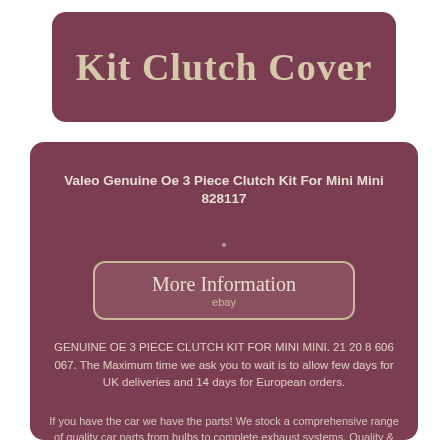Kit Clutch Cover
Valeo Genuine Oe 3 Piece Clutch Kit For Mini Mini 828117
[Figure (other): More Information button with eBay logo, styled as a rounded rectangle link]
GENUINE OE 3 PIECE CLUTCH KIT FOR MINI MINI. 21 20 8 606 067. The Maximum time we ask you to wait is to allow few days for UK deliveries and 14 days for European orders.
If you have the car we have the parts! We stock a comprehensive range of quality car parts from bulbs to complete exhaust systems. Quality & Value Our parts are made to Original Equipment Specification or better. Full After Sales Service We have an excellent reputation for